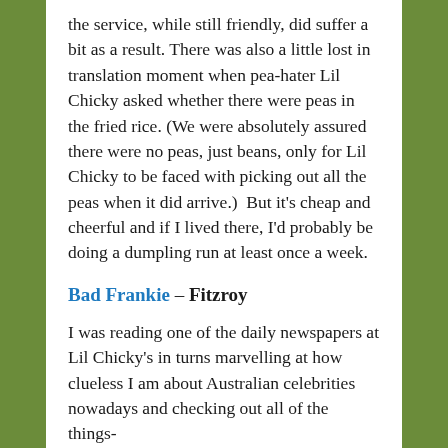the service, while still friendly, did suffer a bit as a result. There was also a little lost in translation moment when pea-hater Lil Chicky asked whether there were peas in the fried rice. (We were absolutely assured there were no peas, just beans, only for Lil Chicky to be faced with picking out all the peas when it did arrive.)  But it's cheap and cheerful and if I lived there, I'd probably be doing a dumpling run at least once a week.
Bad Frankie – Fitzroy
I was reading one of the daily newspapers at Lil Chicky's in turns marvelling at how clueless I am about Australian celebrities nowadays and checking out all of the things-